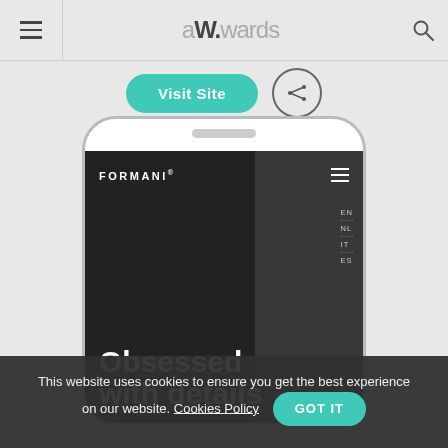awwwards
[Figure (screenshot): Visit Site button (teal rounded) and share icon button]
[Figure (screenshot): Mobile phone mockup showing Formani website with dark background, navigation bar with FORMANI logo, language switcher (EN NL IT ES), and hero text 'Obsessed with details']
This website uses cookies to ensure you get the best experience on our website. Cookies Policy GOT IT